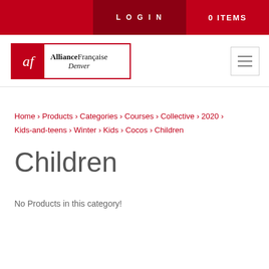LOGIN   0 ITEMS
[Figure (logo): Alliance Française Denver logo — red square with 'af' in italic white text, next to text 'AllianceFrançaise Denver']
Home › Products › Categories › Courses › Collective › 2020 › Kids-and-teens › Winter › Kids › Cocos › Children
Children
No Products in this category!